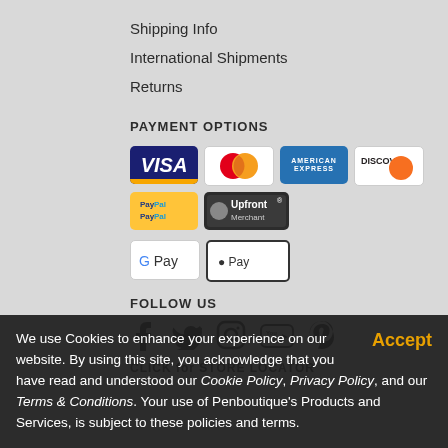Shipping Info
International Shipments
Returns
PAYMENT OPTIONS
[Figure (infographic): Payment method icons: Visa, Mastercard, American Express, Discover, PayPal, Upfront Merchant, Google Pay, Apple Pay]
FOLLOW US
[Figure (infographic): Social media icons: Facebook, Twitter, Instagram, YouTube, Pinterest]
CLICK for STORE LOCATOR
We use Cookies to enhance your experience on our website. By using this site, you acknowledge that you have read and understood our Cookie Policy, Privacy Policy, and our Terms & Conditions. Your use of Penboutique's Products and Services, is subject to these policies and terms.